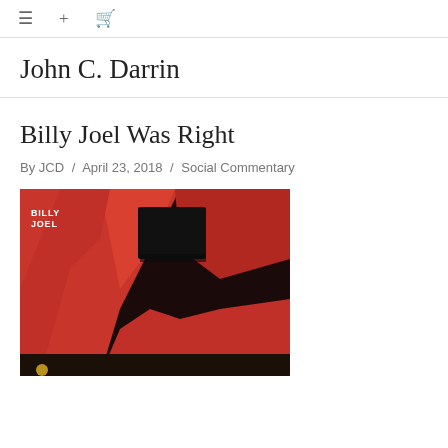≡  +  🛒
John C. Darrin
Billy Joel Was Right
By JCD / April 23, 2018 / Social Commentary
[Figure (photo): Red fabric or cloth with a black rectangular cutout/hole, with 'BILLY JOEL' text in white in the upper left corner. The image appears to be a Billy Joel album art or promotional image.]